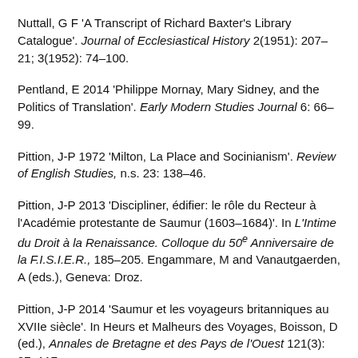Nuttall, G F 'A Transcript of Richard Baxter's Library Catalogue'. Journal of Ecclesiastical History 2(1951): 207–21; 3(1952): 74–100.
Pentland, E 2014 'Philippe Mornay, Mary Sidney, and the Politics of Translation'. Early Modern Studies Journal 6: 66–99.
Pittion, J-P 1972 'Milton, La Place and Socinianism'. Review of English Studies, n.s. 23: 138–46.
Pittion, J-P 2013 'Discipliner, édifier: le rôle du Recteur à l'Académie protestante de Saumur (1603–1684)'. In L'Intime du Droit à la Renaissance. Colloque du 50e Anniversaire de la F.I.S.I.E.R., 185–205. Engammare, M and Vanautgaerden, A (eds.), Geneva: Droz.
Pittion, J-P 2014 'Saumur et les voyageurs britanniques au XVIIe siècle'. In Heurs et Malheurs des Voyages, Boisson, D (ed.), Annales de Bretagne et des Pays de l'Ouest 121(3): 97–117.